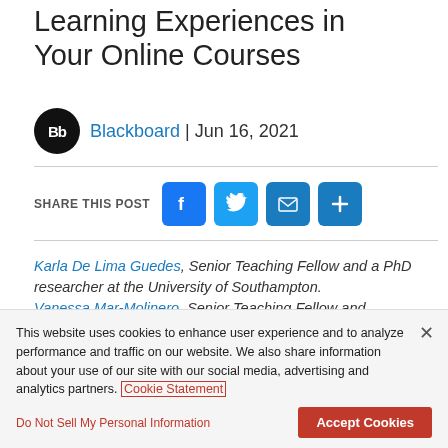Learning Experiences in Your Online Courses
Blackboard | Jun 16, 2021
SHARE THIS POST
Karla De Lima Guedes, Senior Teaching Fellow and a PhD researcher at the University of Southampton. Vanessa Mar-Molinero, Senior Teaching Fellow and Coordinator of the Online Pre-sessional English Programme
This website uses cookies to enhance user experience and to analyze performance and traffic on our website. We also share information about your use of our site with our social media, advertising and analytics partners. Cookie Statement
Do Not Sell My Personal Information
Accept Cookies